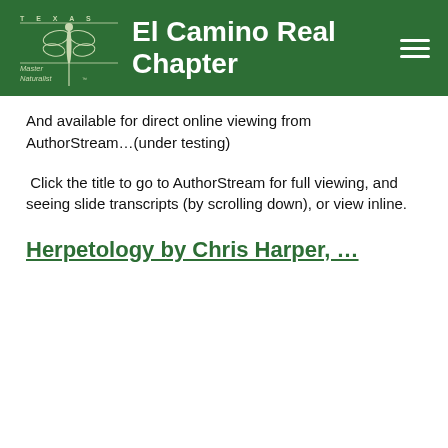El Camino Real Chapter
And available for direct online viewing from AuthorStream…(under testing)
Click the title to go to AuthorStream for full viewing, and seeing slide transcripts (by scrolling down), or view inline.
Herpetology by Chris Harper, …